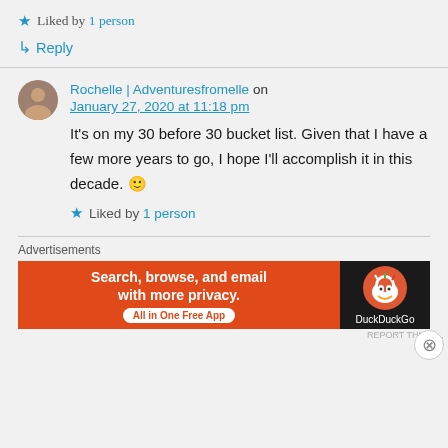★ Liked by 1 person
↳ Reply
Rochelle | Adventuresfromelle on January 27, 2020 at 11:18 pm
It's on my 30 before 30 bucket list. Given that I have a few more years to go, I hope I'll accomplish it in this decade. 🙂
★ Liked by 1 person
Advertisements
[Figure (screenshot): DuckDuckGo advertisement banner: orange background on left with text 'Search, browse, and email with more privacy. All in One Free App', dark background on right with DuckDuckGo duck logo and brand name.]